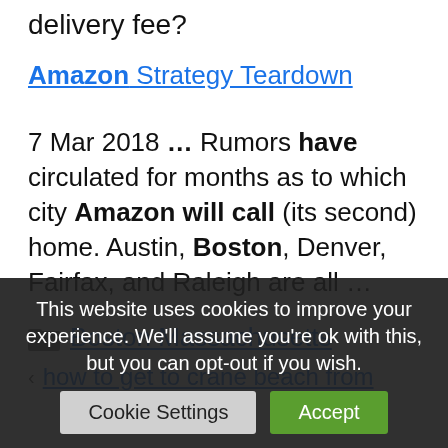delivery fee?
Amazon Strategy Teardown
7 Mar 2018 … Rumors have circulated for months as to which city Amazon will call (its second) home. Austin, Boston, Denver, Fairfax, and Raleigh are all …
Boston Massachusetts
how to get to crane beach from
This website uses cookies to improve your experience. We'll assume you're ok with this, but you can opt-out if you wish.
Cookie Settings
Accept